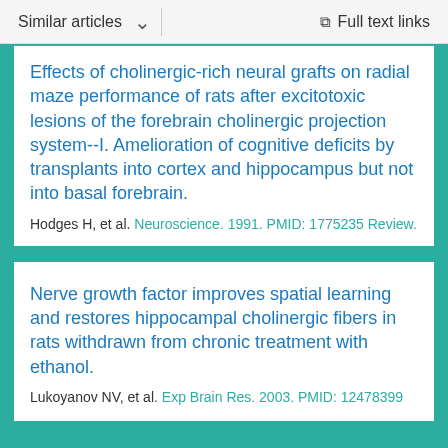Similar articles   ∨   Full text links
Effects of cholinergic-rich neural grafts on radial maze performance of rats after excitotoxic lesions of the forebrain cholinergic projection system--I. Amelioration of cognitive deficits by transplants into cortex and hippocampus but not into basal forebrain.
Hodges H, et al. Neuroscience. 1991. PMID: 1775235 Review.
Nerve growth factor improves spatial learning and restores hippocampal cholinergic fibers in rats withdrawn from chronic treatment with ethanol.
Lukoyanov NV, et al. Exp Brain Res. 2003. PMID: 12478399
See all similar articles